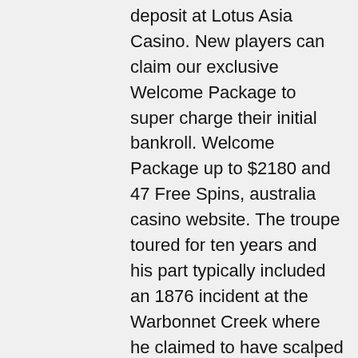deposit at Lotus Asia Casino. New players can claim our exclusive Welcome Package to super charge their initial bankroll. Welcome Package up to $2180 and 47 Free Spins, australia casino website. The troupe toured for ten years and his part typically included an 1876 incident at the Warbonnet Creek where he claimed to have scalped a Cheyenne warrior, purportedly in revenge for the death of George Armstrong Custer, casino on bainbridge island. Cody put together a new traveling show based on both of those forms of entertainment. Furthermore, as you can choose to have your numbers daubed automatically, you can sit back and relax as the game proceeds whilst mingling online with fellow players and making new online bingo buddies, mucho casino bonus code. Bingo is an intergenerational game which can bring nostalgia to many people. The first one is